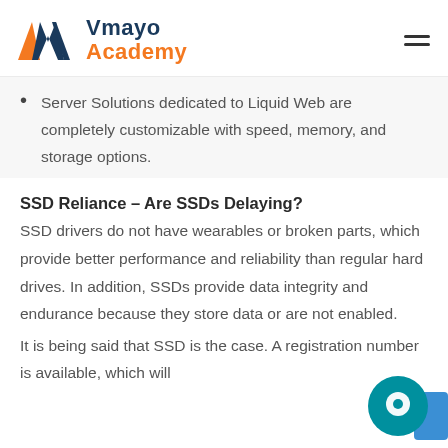Vmayo Academy
Server Solutions dedicated to Liquid Web are completely customizable with speed, memory, and storage options.
SSD Reliance – Are SSDs Delaying?
SSD drivers do not have wearables or broken parts, which provide better performance and reliability than regular hard drives. In addition, SSDs provide data integrity and endurance because they store data or are not enabled.
It is being said that SSD is the case. A registration number is available, which will